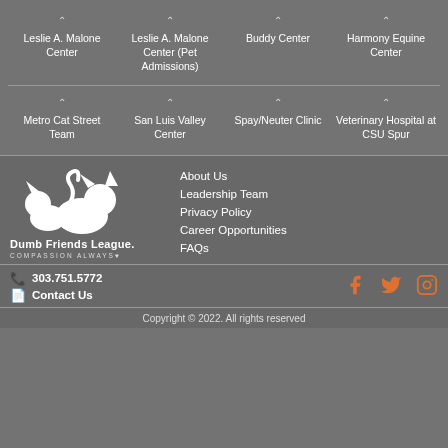Leslie A. Malone Center
Leslie A. Malone Center (Pet Admissions)
Buddy Center
Harmony Equine Center
Metro Cat Street Team
San Luis Valley Center
Spay/Neuter Clinic
Veterinary Hospital at CSU Spur
[Figure (logo): Dumb Friends League logo with animal silhouette and tagline COMPASSION ALWAYS]
About Us
Leadership Team
Privacy Policy
Career Opportunities
FAQs
303.751.5772
Contact Us
Copyright © 2022. All rights reserved